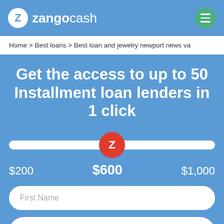zangocash
Home > Best loans > Best loan and jewelry newport news va
Get the access to up to 50 Installment loan lenders in 1 click
[Figure (other): A horizontal slider control with a red circle thumb showing the letter Z in the center position, with a white track. Below shows values $200 on left, $600 in center (bold), $1,000 on right.]
First Name
Last Na...